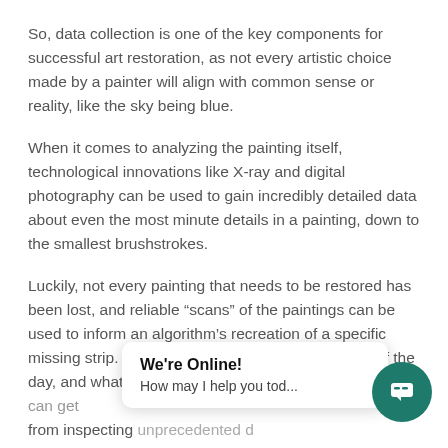So, data collection is one of the key components for successful art restoration, as not every artistic choice made by a painter will align with common sense or reality, like the sky being blue.
When it comes to analyzing the painting itself, technological innovations like X-ray and digital photography can be used to gain incredibly detailed data about even the most minute details in a painting, down to the smallest brushstrokes.
Luckily, not every painting that needs to be restored has been lost, and reliable “scans” of the paintings can be used to inform an algorithm’s recreation of a specific missing strip. It is all a matter of details, at the end of the day, and what matters is the level of detail that an agent can get from inspecting unprecedented d... above then along its recreation abilities it is a
[Figure (other): Live chat popup widget with title 'We're Online!' and subtitle 'How may I help you tod...' and a circular dark teal chat bubble icon button in the bottom-right corner.]